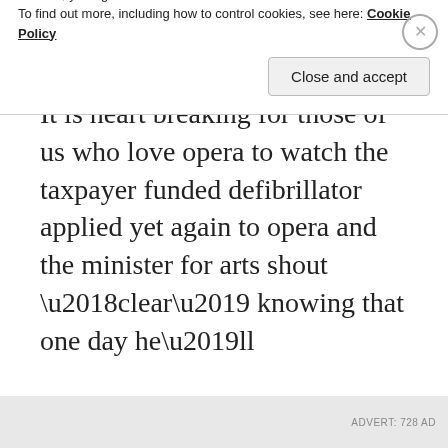It is heart breaking for those of us who love opera to watch the taxpayer funded defibrillator applied yet again to opera and the minister for arts shout ‘clear’ knowing that one day he’ll
Privacy & Cookies: This site uses cookies. By continuing to use this website, you agree to their use.
To find out more, including how to control cookies, see here: Cookie Policy